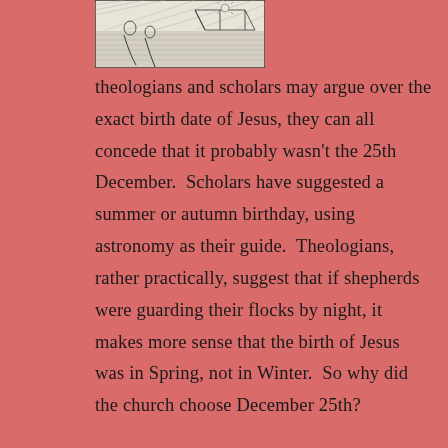[Figure (illustration): Black and white engraving/illustration depicting a nativity or biblical pastoral scene with figures]
theologians and scholars may argue over the exact birth date of Jesus, they can all concede that it probably wasn't the 25th December.  Scholars have suggested a summer or autumn birthday, using astronomy as their guide.  Theologians, rather practically, suggest that if shepherds were guarding their flocks by night, it makes more sense that the birth of Jesus was in Spring, not in Winter.  So why did the church choose December 25th?